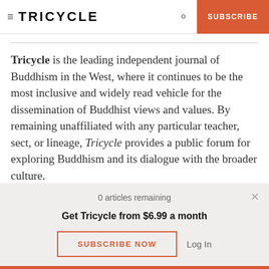TRICYCLE | SUBSCRIBE
Tricycle is the leading independent journal of Buddhism in the West, where it continues to be the most inclusive and widely read vehicle for the dissemination of Buddhist views and values. By remaining unaffiliated with any particular teacher, sect, or lineage, Tricycle provides a public forum for exploring Buddhism and its dialogue with the broader culture.
0 articles remaining
Get Tricycle from $6.99 a month
SUBSCRIBE NOW
Log In